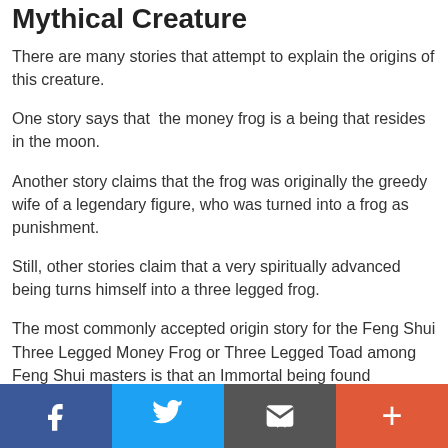Mythical Creature
There are many stories that attempt to explain the origins of this creature.
One story says that the money frog is a being that resides in the moon.
Another story claims that the frog was originally the greedy wife of a legendary figure, who was turned into a frog as punishment.
Still, other stories claim that a very spiritually advanced being turns himself into a three legged frog.
The most commonly accepted origin story for the Feng Shui Three Legged Money Frog or Three Legged Toad among Feng Shui masters is that an Immortal being found